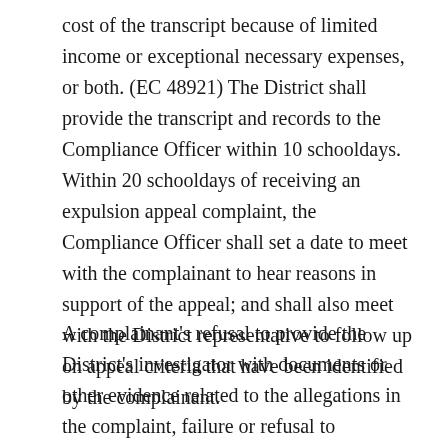cost of the transcript because of limited income or exceptional necessary expenses, or both. (EC 48921) The District shall provide the transcript and records to the Compliance Officer within 10 schooldays. Within 20 schooldays of receiving an expulsion appeal complaint, the Compliance Officer shall set a date to meet with the complainant to hear reasons in support of the appeal; and shall also meet with the District representative to follow up on appeal criteria that have been identified by the complainant.
A complainant's refusal to provide the District's investigator with documents or other evidence related to the allegations in the complaint, failure or refusal to cooperate in the investigation, or